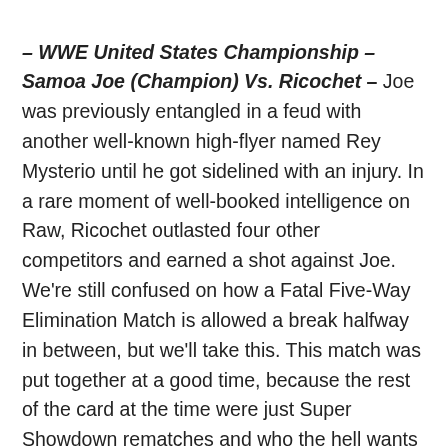– WWE United States Championship – Samoa Joe (Champion) Vs. Ricochet – Joe was previously entangled in a feud with another well-known high-flyer named Rey Mysterio until he got sidelined with an injury. In a rare moment of well-booked intelligence on Raw, Ricochet outlasted four other competitors and earned a shot against Joe. We're still confused on how a Fatal Five-Way Elimination Match is allowed a break halfway in between, but we'll take this. This match was put together at a good time, because the rest of the card at the time were just Super Showdown rematches and who the hell wants that? It was definitely surprising because it seemed they were building to a Miz-Joe match. Ricochet-Joe stands out better on a card and lord knows this one needs it. At the same time, while Ricochet has this amazing opportunity, all we really know about him on the main